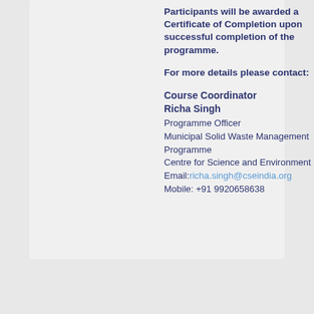Participants will be awarded a Certificate of Completion upon successful completion of the programme.
For more details please contact:
Course Coordinator
Richa Singh
Programme Officer
Municipal Solid Waste Management Programme
Centre for Science and Environment
Email:richa.singh@cseindia.org
Mobile: +91 9920658638